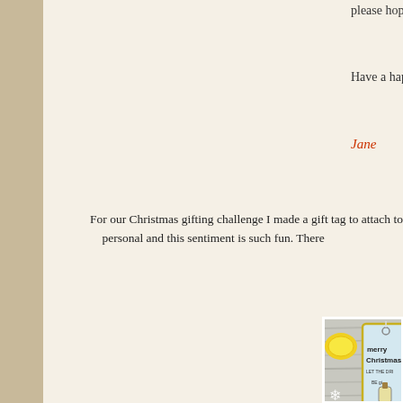please hop on my blog where you can fi
Have a happy No
Jane
For our Christmas gifting challenge I made a gift tag to attach to a... personal and this sentiment is such fun. There
[Figure (photo): A photograph showing a Christmas gift tag with 'Merry Christmas LET THE DRI BE gi' text and a gin bottle illustration, surrounded by a lemon slice, glass gems, and snowflake decorations on a white wood background.]